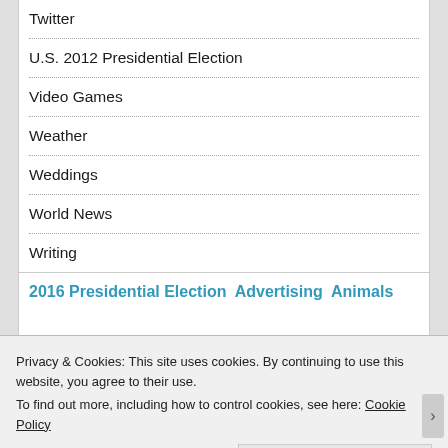Twitter
U.S. 2012 Presidential Election
Video Games
Weather
Weddings
World News
Writing
2016 Presidential Election  Advertising  Animals
Privacy & Cookies: This site uses cookies. By continuing to use this website, you agree to their use.
To find out more, including how to control cookies, see here: Cookie Policy
Close and accept